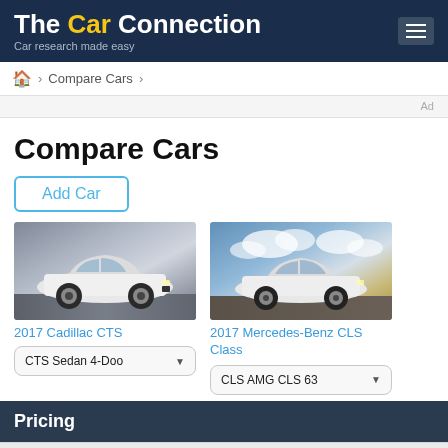The Car Connection — Car research made easy
Compare Cars
Ad
Compare Cars
Add Car
[Figure (photo): 2017 Cadillac CTS white sedan on road]
[Figure (photo): 2017 Mercedes-Benz CLS Class white sedan against cloudy sky]
2017 Cadillac CTS
2017 Mercedes-Benz CLS Class
CTS Sedan 4-Doo ▼
CLS AMG CLS 63 ▼
Pricing
Invoice Price